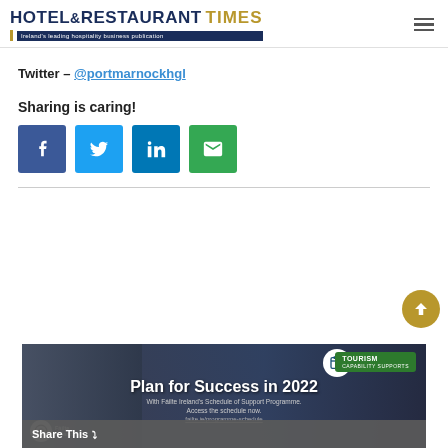HOTEL & RESTAURANT TIMES — Ireland's leading hospitality business publication
Twitter – @portmarnockhgl
Sharing is caring!
[Figure (infographic): Four social sharing buttons: Facebook (blue), Twitter (light blue), LinkedIn (dark blue), Email (green)]
[Figure (infographic): Failte Ireland advertisement banner: Plan for Success in 2022 with Failte Ireland's Schedule of Support Programme. Access the schedule now. failte.ie/programme-schedule. Tourism Capability Supports badge. Share This bar at bottom with X close button.]